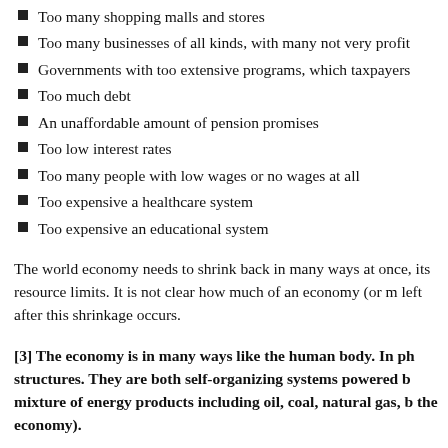Too many shopping malls and stores
Too many businesses of all kinds, with many not very profit
Governments with too extensive programs, which taxpayers
Too much debt
An unaffordable amount of pension promises
Too low interest rates
Too many people with low wages or no wages at all
Too expensive a healthcare system
Too expensive an educational system
The world economy needs to shrink back in many ways at once, its resource limits. It is not clear how much of an economy (or m left after this shrinkage occurs.
[3] The economy is in many ways like the human body. In ph structures. They are both self-organizing systems powered b mixture of energy products including oil, coal, natural gas, b the economy).